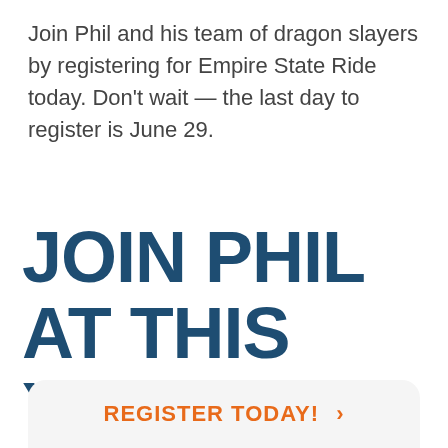Join Phil and his team of dragon slayers by registering for Empire State Ride today. Don't wait — the last day to register is June 29.
JOIN PHIL AT THIS YEAR'S EMPIRE STATE RIDE.
REGISTER TODAY! ›